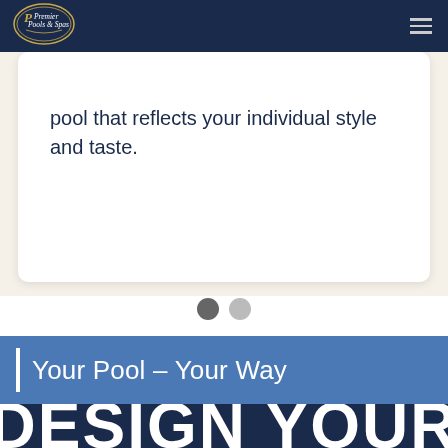[Figure (logo): Premier Pools & Spas oval logo on dark navy navigation bar]
pool that reflects your individual style and taste.
[Figure (infographic): Two circular slider indicator dots — one dark gray (active) and one light gray (inactive)]
Your Pool – Your Way
DESIGN YOUR